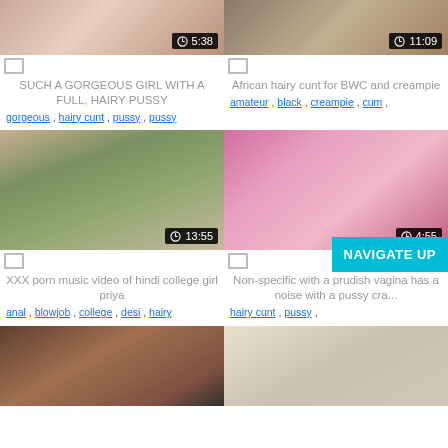[Figure (screenshot): Video thumbnail top left with duration 5:38]
[Figure (screenshot): Video thumbnail top right with duration 11:09]
SUCH A GORGEOUS GIRL WITH A FULL, HAIRY PUSSY
African hairy cunt for BWC and creampie
gorgeous , hairy cunt , pussy , pussy
amateur , black , creampie , cum ,
[Figure (screenshot): Video thumbnail mid left with duration 13:55]
[Figure (screenshot): Video thumbnail mid right with duration 4:55]
XXX porn music video of hindi college girl priya
Non-specific with a prudish vagina has a noise with a pussy cra...
anal , blowjob , college , desi , hairy
hairy cunt , pussy ,
[Figure (screenshot): Video thumbnail bottom left]
[Figure (screenshot): Video thumbnail bottom right]